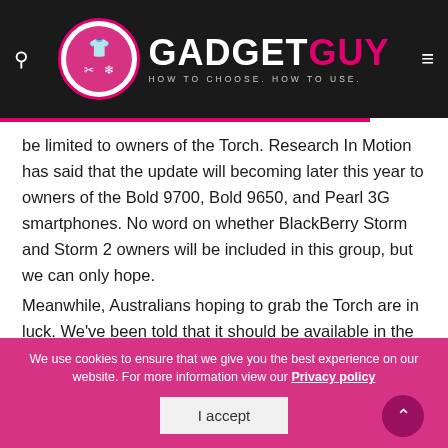GADGET GUY — HOW TO CHOOSE. HOW TO USE.
be limited to owners of the Torch. Research In Motion has said that the update will becoming later this year to owners of the Bold 9700, Bold 9650, and Pearl 3G smartphones. No word on whether BlackBerry Storm and Storm 2 owners will be included in this group, but we can only hope.
Meanwhile, Australians hoping to grab the Torch are in luck. We've been told that it should be available in the coming months from Optus, Telstra, Vodafone, and 3.
We use cookies to ensure that we give you the best experience on our website. For more information view our Privacy policy
I accept